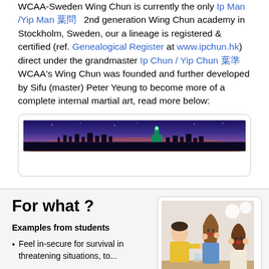WCAA-Sweden Wing Chun is currently the only Ip Man /Yip Man 葉問  2nd generation Wing Chun academy in Stockholm, Sweden, our a lineage is registered & certified (ref. Genealogical Register at www.ipchun.hk) direct under the grandmaster Ip Chun / Yip Chun 葉準  WCAA's Wing Chun was founded and further developed by Sifu (master) Peter Yeung to become more of a complete internal martial art, read more below:
[Figure (photo): Panoramic night cityscape photo showing Hong Kong skyline with purple/blue dusk sky and city lights]
For what ?
Examples from students
Feel in-secure for survival in threatening situations, to...
[Figure (illustration): Cartoon illustration showing three people in a distressed or threatening situation - a man and two women who appear frightened]